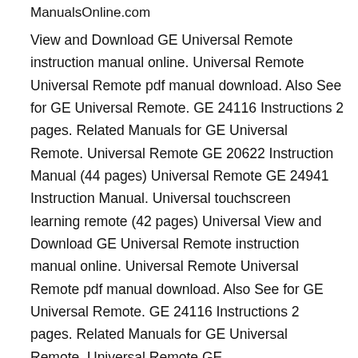ManualsOnline.com
View and Download GE Universal Remote instruction manual online. Universal Remote Universal Remote pdf manual download. Also See for GE Universal Remote. GE 24116 Instructions 2 pages. Related Manuals for GE Universal Remote. Universal Remote GE 20622 Instruction Manual (44 pages) Universal Remote GE 24941 Instruction Manual. Universal touchscreen learning remote (42 pages) Universal View and Download GE Universal Remote instruction manual online. Universal Remote Universal Remote pdf manual download. Also See for GE Universal Remote. GE 24116 Instructions 2 pages. Related Manuals for GE Universal Remote. Universal Remote GE